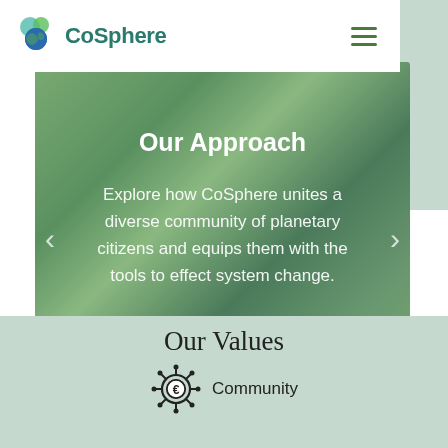[Figure (logo): CoSphere logo with green globe and leaf icons, teal text]
[Figure (other): Hamburger menu icon (three green horizontal lines)]
Our Approach
Explore how CoSphere unites a diverse community of planetary citizens and equips them with the tools to effect system change.
Our Values
[Figure (illustration): Community icon: a circular gear/sun symbol with a euro/person symbol in the center]
Community